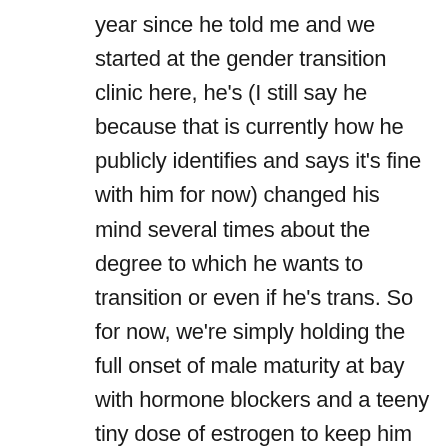year since he told me and we started at the gender transition clinic here, he's (I still say he because that is currently how he publicly identifies and says it's fine with him for now) changed his mind several times about the degree to which he wants to transition or even if he's trans. So for now, we're simply holding the full onset of male maturity at bay with hormone blockers and a teeny tiny dose of estrogen to keep him from having hot flashes. We are giving him the time